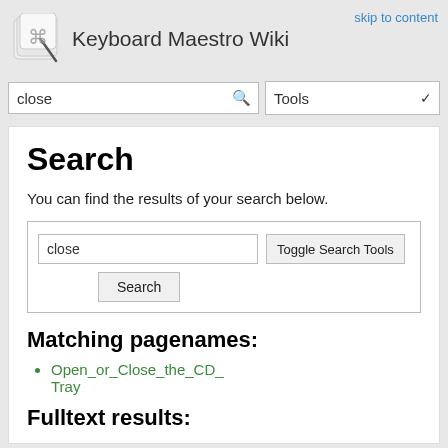Keyboard Maestro Wiki
skip to content
Search
You can find the results of your search below.
Matching pagenames:
Open_or_Close_the_CD_Tray
Fulltext results: